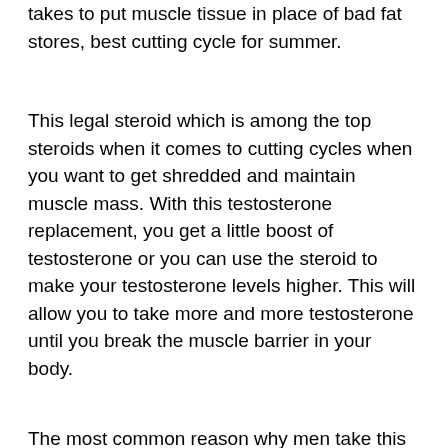takes to put muscle tissue in place of bad fat stores, best cutting cycle for summer.
This legal steroid which is among the top steroids when it comes to cutting cycles when you want to get shredded and maintain muscle mass. With this testosterone replacement, you get a little boost of testosterone or you can use the steroid to make your testosterone levels higher. This will allow you to take more and more testosterone until you break the muscle barrier in your body.
The most common reason why men take this steroid, is to get their testosterone levels elevated. This doesn't mean that you will be able to get the desired effect, because all these supplements are not only anabolic, but they will affect your body in different ways. This steroids and will alter your hormonal